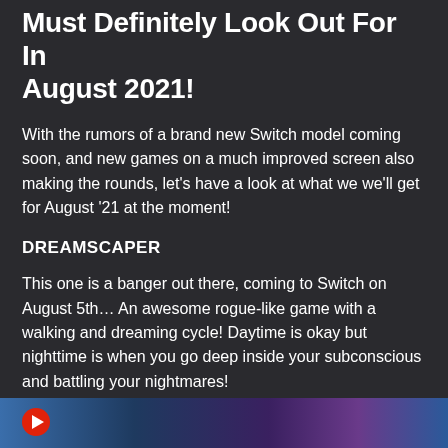Must Definitely Look Out For In August 2021!
With the rumors of a brand new Switch model coming soon, and new games on a much improved screen also making the rounds, let's have a look at what we we'll get for August '21 at the moment!
DREAMSCAPER
This one is a banger out there, coming to Switch on August 5th… An awesome rogue-like game with a walking and dreaming cycle! Daytime is okay but nighttime is when you go deep inside your subconscious and battling your nightmares!
Enough said, check out the gameplay trailer for it below!
[Figure (screenshot): Thumbnail strip at the bottom of a video player showing a dark blue/purple game screenshot, with a red play button circle on the left.]